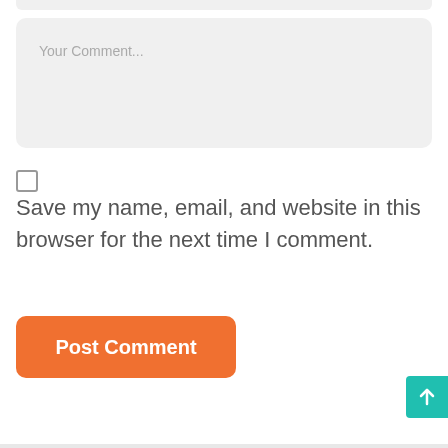[Figure (screenshot): Comment textarea input field with placeholder text 'Your Comment...' on a light gray background with rounded corners]
Save my name, email, and website in this browser for the next time I comment.
[Figure (other): Orange rounded button labeled 'Post Comment']
[Figure (other): Teal scroll-to-top button with upward arrow icon in the bottom right corner]